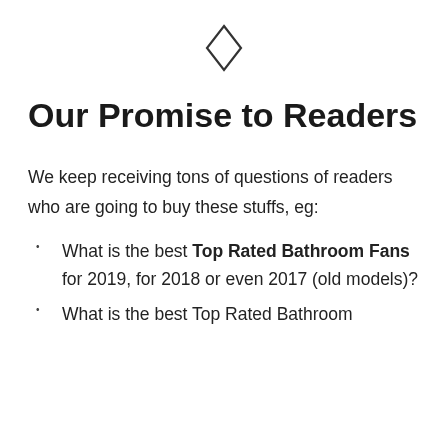[Figure (illustration): Small diamond/rhombus outline icon centered at top of page]
Our Promise to Readers
We keep receiving tons of questions of readers who are going to buy these stuffs, eg:
What is the best Top Rated Bathroom Fans for 2019, for 2018 or even 2017 (old models)?
What is the best Top Rated Bathroom